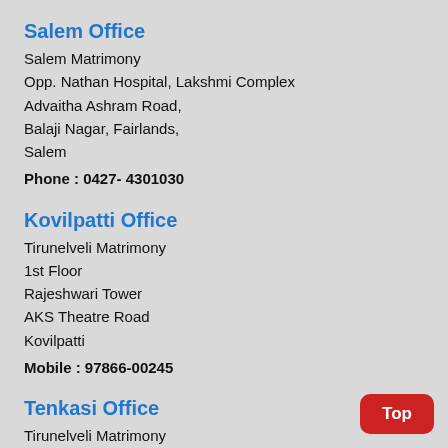Salem Office
Salem Matrimony
Opp. Nathan Hospital, Lakshmi Complex
Advaitha Ashram Road,
Balaji Nagar, Fairlands,
Salem
Phone : 0427- 4301030
Kovilpatti Office
Tirunelveli Matrimony
1st Floor
Rajeshwari Tower
AKS Theatre Road
Kovilpatti
Mobile : 97866-00245
Tenkasi Office
Tirunelveli Matrimony
1st Floor,Ready Study Centre,
Near Central Petrol Punk...